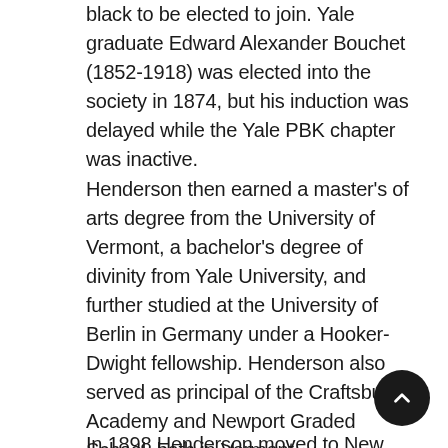black to be elected to join. Yale graduate Edward Alexander Bouchet (1852-1918) was elected into the society in 1874, but his induction was delayed while the Yale PBK chapter was inactive.
Henderson then earned a master's of arts degree from the University of Vermont, a bachelor's degree of divinity from Yale University, and further studied at the University of Berlin in Germany under a Hooker-Dwight fellowship. Henderson also served as principal of the Craftsbury Academy and Newport Graded School, both in Vermont.
In 1898 Henderson moved to New Orle...